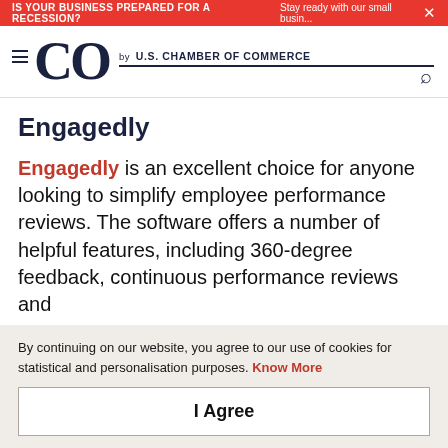IS YOUR BUSINESS PREPARED FOR A RECESSION? Stay ready with our small busin... ×
[Figure (logo): CO by U.S. Chamber of Commerce logo with hamburger menu and search icon]
Engagedly
Engagedly is an excellent choice for anyone looking to simplify employee performance reviews. The software offers a number of helpful features, including 360-degree feedback, continuous performance reviews and
By continuing on our website, you agree to our use of cookies for statistical and personalisation purposes. Know More
I Agree